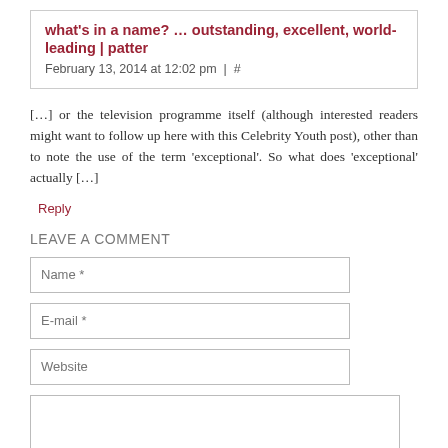what's in a name? … outstanding, excellent, world-leading | patter
February 13, 2014 at 12:02 pm | #
[…] or the television programme itself (although interested readers might want to follow up here with this Celebrity Youth post), other than to note the use of the term 'exceptional'. So what does 'exceptional' actually […]
Reply
LEAVE A COMMENT
Name *
E-mail *
Website